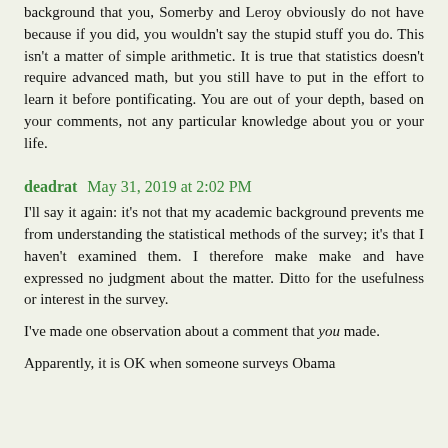background that you, Somerby and Leroy obviously do not have because if you did, you wouldn't say the stupid stuff you do. This isn't a matter of simple arithmetic. It is true that statistics doesn't require advanced math, but you still have to put in the effort to learn it before pontificating. You are out of your depth, based on your comments, not any particular knowledge about you or your life.
deadrat  May 31, 2019 at 2:02 PM
I'll say it again: it's not that my academic background prevents me from understanding the statistical methods of the survey; it's that I haven't examined them. I therefore make make and have expressed no judgment about the matter. Ditto for the usefulness or interest in the survey.
I've made one observation about a comment that you made.
Apparently, it is OK when someone surveys Obama